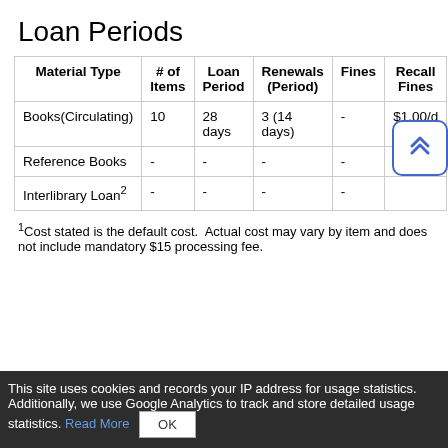Loan Periods
| Material Type | # of Items | Loan Period | Renewals (Period) | Fines | Recall Fines |
| --- | --- | --- | --- | --- | --- |
| Books(Circulating) | 10 | 28 days | 3 (14 days) | - | $1.00/d |
| Reference Books | - | - | - | - |  |
| Interlibrary Loan² | - | - | - | - |  |
¹Cost stated is the default cost.  Actual cost may vary by item and does not include mandatory $15 processing fee.
This site uses cookies and records your IP address for usage statistics. Additionally, we use Google Analytics to track and store detailed usage statistics. Read More  OK